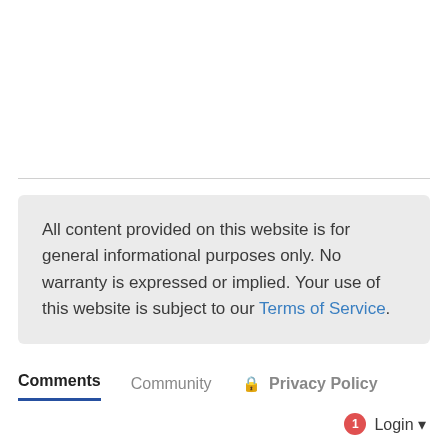All content provided on this website is for general informational purposes only. No warranty is expressed or implied. Your use of this website is subject to our Terms of Service.
Comments  Community  Privacy Policy  1  Login